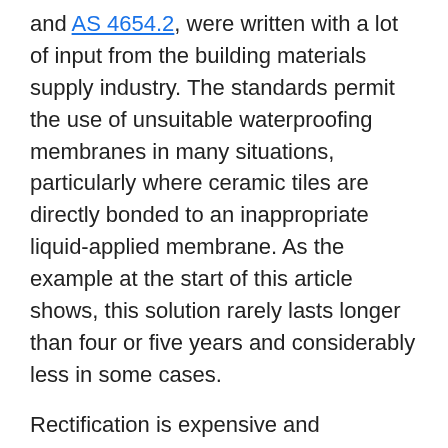and AS 4654.2, were written with a lot of input from the building materials supply industry. The standards permit the use of unsuitable waterproofing membranes in many situations, particularly where ceramic tiles are directly bonded to an inappropriate liquid-applied membrane. As the example at the start of this article shows, this solution rarely lasts longer than four or five years and considerably less in some cases.
Rectification is expensive and inconvenient. It involves hacking up and replacing all the tiles.
In addition, every apartment building built without a step in the slab at the junction between walls and floors will probably be plagued with issues in